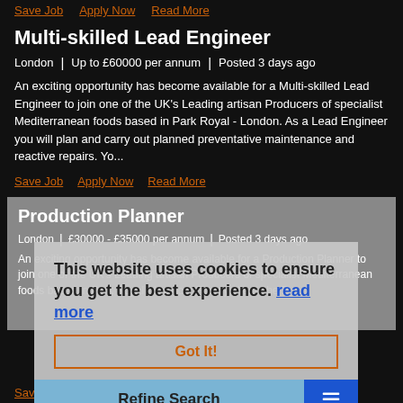Save Job   Apply Now   Read More
Multi-skilled Lead Engineer
London | Up to £60000 per annum | Posted 3 days ago
An exciting opportunity has become available for a Multi-skilled Lead Engineer to join one of the UK's Leading artisan Producers of specialist Mediterranean foods based in Park Royal - London. As a Lead Engineer you will plan and carry out planned preventative maintenance and reactive repairs. Yo...
Save Job   Apply Now   Read More
Production Planner
London | £30000 - £35000 per annum | Posted 3 days ago
An exciting opportunity has become available for a Production Planner to join one of the UK's Leading artisan Producers of specialist Mediterranean foods based in Park Royal - London. For my client, the P...
This website uses cookies to ensure you get the best experience. read more
Got It!
Refine Search
Save Job   Apply Now   Read More